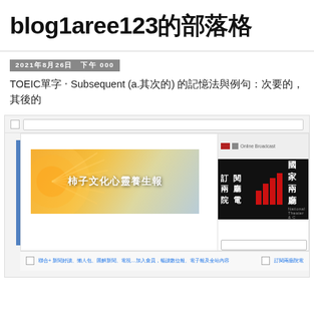blog1aree123的部落格
2021年8月26日 下午 000
TOEIC單字 ‧ Subsequent (a.其次的) 的記憶法與例句：次要的，其後的
[Figure (screenshot): Screenshot of a blog page showing two banner advertisements: '柿子文化心靈養生報' with colorful sunflower design, and '訂閱兩廳院電' with National Theater & Concert Hall logo in black with red bar chart icon. Below are links in blue text.]